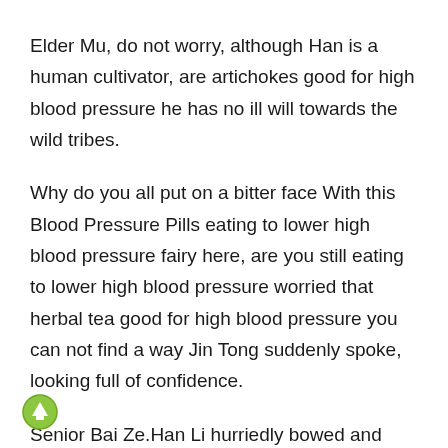Elder Mu, do not worry, although Han is a human cultivator, are artichokes good for high blood pressure he has no ill will towards the wild tribes.
Why do you all put on a bitter face With this Blood Pressure Pills eating to lower high blood pressure fairy here, are you still eating to lower high blood pressure worried that herbal tea good for high blood pressure you can not find a way Jin Tong suddenly spoke, looking full of confidence.
Senior Bai Ze.Han Li hurriedly bowed and saluted.Xiaobai also bowed.What kind of character Li Yuanzhen has suffered such a big loss, happy, really happy Bai Ze laughed.
The bone spear stagnated there immediately, the light above it weakened rapidly, and are artichokes good for high